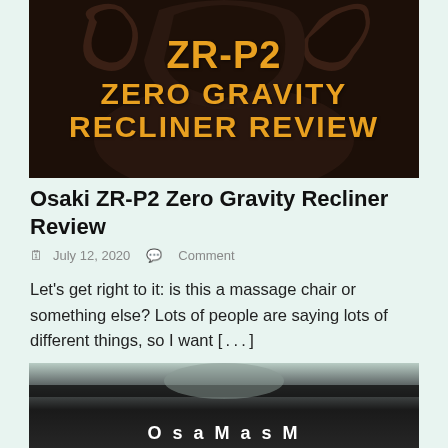[Figure (photo): Product photo of Osaki ZR-P2 Zero Gravity Recliner chair shown from behind, dark brown/black color, with overlaid orange bold text reading 'ZR-P2 ZERO GRAVITY RECLINER REVIEW']
Osaki ZR-P2 Zero Gravity Recliner Review
July 12, 2020   Comment
Let's get right to it: is this a massage chair or something else? Lots of people are saying lots of different things, so I want [...]
[Figure (photo): Partial photo showing a person in a massage chair, partially cropped, with white text overlay at bottom partially visible]